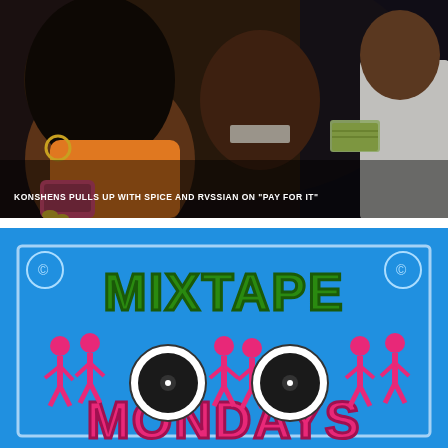[Figure (photo): Photo of people at a party or club scene; a woman in an orange outfit holding a pink iPhone, a man leaning close to her, and another man in a grey shirt visible in background]
KONSHENS PULLS UP WITH SPICE AND RVSSIAN ON "PAY FOR IT"
[Figure (illustration): Colorful graphic for 'Mixtape Mondays' with bold green and pink/red text on a blue background, featuring silhouettes of dancing women and record/disc graphics]